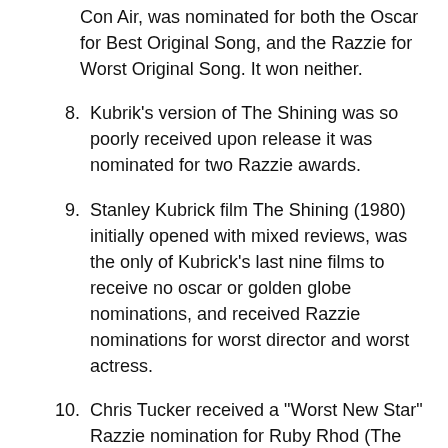Con Air, was nominated for both the Oscar for Best Original Song, and the Razzie for Worst Original Song. It won neither.
8. Kubrik's version of The Shining was so poorly received upon release it was nominated for two Razzie awards.
9. Stanley Kubrick film The Shining (1980) initially opened with mixed reviews, was the only of Kubrick's last nine films to receive no oscar or golden globe nominations, and received Razzie nominations for worst director and worst actress.
10. Chris Tucker received a "Worst New Star" Razzie nomination for Ruby Rhod (The Fifth Element).